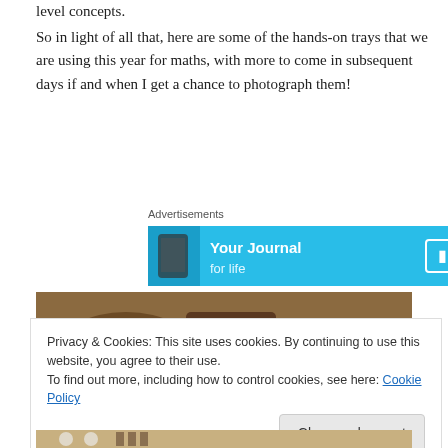level concepts.
So in light of all that, here are some of the hands-on trays that we are using this year for maths, with more to come in subsequent days if and when I get a chance to photograph them!
Advertisements
[Figure (screenshot): Advertisement banner with blue background showing 'Your Journal for life' text and phone image]
[Figure (photo): Photo of hands-on math trays with colorful tokens and learning materials in bowls and trays]
Privacy & Cookies: This site uses cookies. By continuing to use this website, you agree to their use.
To find out more, including how to control cookies, see here: Cookie Policy
Close and accept
[Figure (photo): Bottom of photo showing math learning materials on a wooden surface]